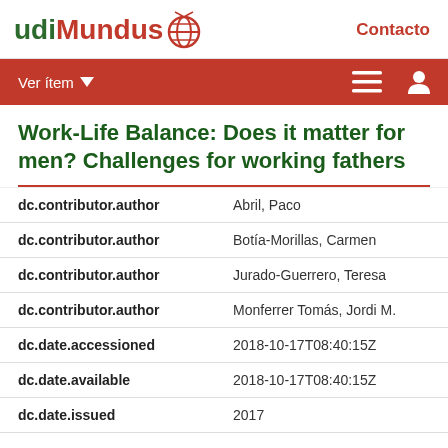udiMundus   Contacto
Work-Life Balance: Does it matter for men? Challenges for working fathers
| Field | Value |
| --- | --- |
| dc.contributor.author | Abril, Paco |
| dc.contributor.author | Botía-Morillas, Carmen |
| dc.contributor.author | Jurado-Guerrero, Teresa |
| dc.contributor.author | Monferrer Tomás, Jordi M. |
| dc.date.accessioned | 2018-10-17T08:40:15Z |
| dc.date.available | 2018-10-17T08:40:15Z |
| dc.date.issued | 2017 |